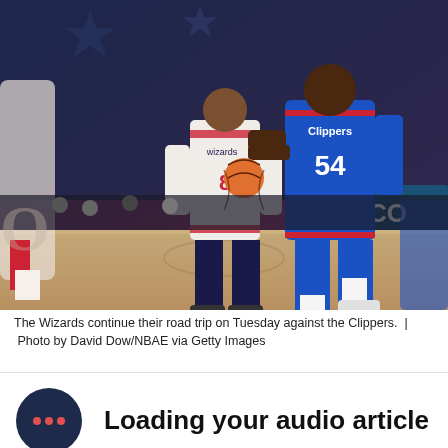[Figure (photo): NBA basketball game photo showing a Los Angeles Clippers player #54 dribbling past a Washington Wizards player #8, with GEICO advertising board and 2019-20 Season signage visible in background.]
The Wizards continue their road trip on Tuesday against the Clippers.  |  Photo by David Dow/NBAE via Getty Images
Loading your audio article